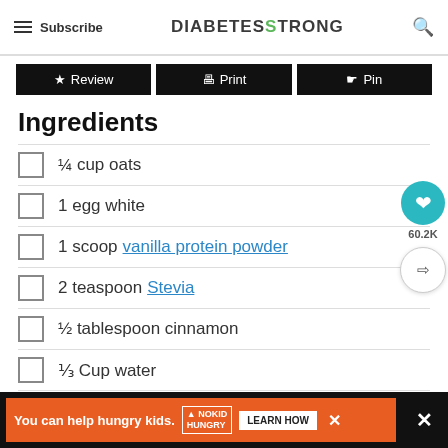Subscribe | DIABETESTRONG
Review
Print
Pin
Ingredients
¼ cup oats
1 egg white
1 scoop vanilla protein powder
2 teaspoon Stevia
½ tablespoon cinnamon
⅓ Cup water
US Customary  Metric